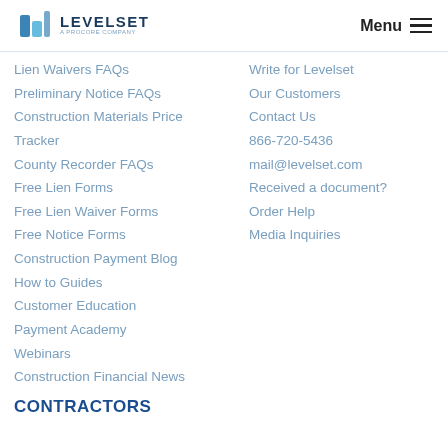Levelset — A Procore Company | Menu
Lien Waivers FAQs
Preliminary Notice FAQs
Construction Materials Price Tracker
County Recorder FAQs
Free Lien Forms
Free Lien Waiver Forms
Free Notice Forms
Construction Payment Blog
How to Guides
Customer Education
Payment Academy
Webinars
Construction Financial News
Write for Levelset
Our Customers
Contact Us
866-720-5436
mail@levelset.com
Received a document?
Order Help
Media Inquiries
CONTRACTORS